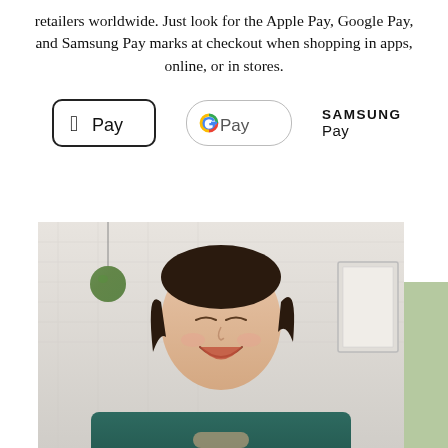retailers worldwide. Just look for the Apple Pay, Google Pay, and Samsung Pay marks at checkout when shopping in apps, online, or in stores.
[Figure (illustration): Three digital payment logos side by side: Apple Pay (black rounded rectangle border), Google Pay (G logo with colorful G in rounded pill border), and Samsung Pay (bold black text).]
[Figure (photo): A smiling young Asian woman wearing a dark teal/green long-sleeve top, looking down and smiling, in front of a white brick wall with a round hanging plant decoration visible in the background.]